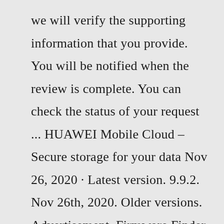we will verify the supporting information that you provide. You will be notified when the review is complete. You can check the status of your request ... HUAWEI Mobile Cloud – Secure storage for your data Nov 26, 2020 · Latest version. 9.9.2. Nov 26th, 2020. Older versions. Advertisement. Firmware Finder is an unofficial app exclusively for Huawei devices that lets you download and install the latest official